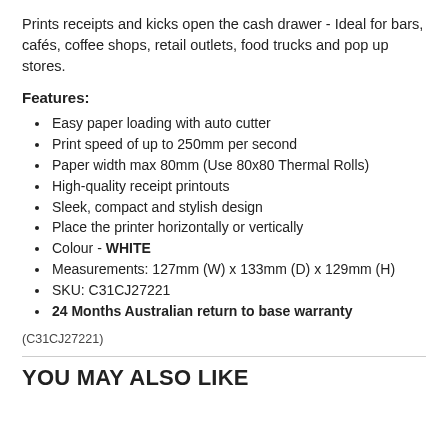Prints receipts and kicks open the cash drawer - Ideal for bars, cafés, coffee shops, retail outlets, food trucks and pop up stores.
Features:
Easy paper loading with auto cutter
Print speed of up to 250mm per second
Paper width max 80mm (Use 80x80 Thermal Rolls)
High-quality receipt printouts
Sleek, compact and stylish design
Place the printer horizontally or vertically
Colour - WHITE
Measurements: 127mm (W) x 133mm (D) x 129mm (H)
SKU: C31CJ27221
24 Months Australian return to base warranty
(C31CJ27221)
YOU MAY ALSO LIKE